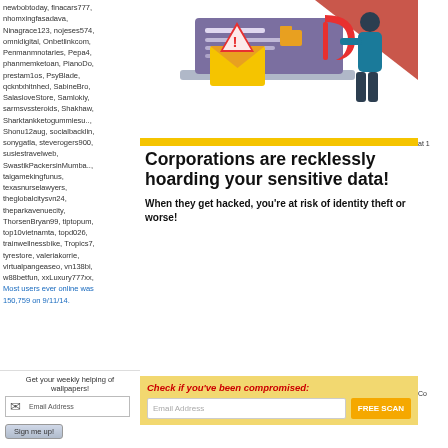newbobtoday, finacars777, nhomxingfasadava, Ninagrace123, nojeses574, omnidigital, Onbetlinkcom, Penmanmnotaries, Pepa4, phanmemketoan, PianoDc, prestam1os, PsyBlade, qckntxhitnhed, SabineBro, SalasloveStore, Samlokiy, sarmsvssteroids, Shakhaw, Sharktankketogummiesu.., Shonu12aug, socialbacklin, sonygatla, steverogers900, susiestravelweb, SwastikPackersinMumba.., taigamekingfunus, texasnurselawyers, theglobalcitysvn24, theparkavenuecity, ThorsenBryan99, tiptopum, top10vietnamta, topd026, trainwellnessbike, Tropics7, tyrestore, valeriakorrie, virtualpangeaseo, vn138bi, w88betfun, xxLuxury777xx
Most users ever online was 150,759 on 9/11/14.
Get your weekly helping of wallpapers!
Email Address
Sign me up!
[Figure (illustration): Illustration showing a person using a magnet to steal data from a laptop with a warning envelope and alert icon]
Corporations are recklessly hoarding your sensitive data!
When they get hacked, you're at risk of identity theft or worse!
Check if you've been compromised:
Email Address
FREE SCAN
at 1
Co